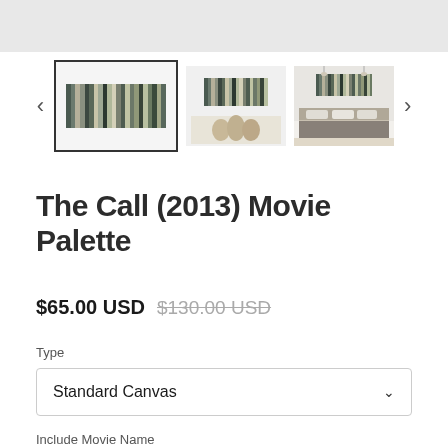[Figure (screenshot): E-commerce product page screenshot showing movie palette art thumbnails, selected thumbnail with black border showing striped color bars artwork]
The Call (2013) Movie Palette
$65.00 USD $130.00 USD
Type
Standard Canvas
Include Movie Name